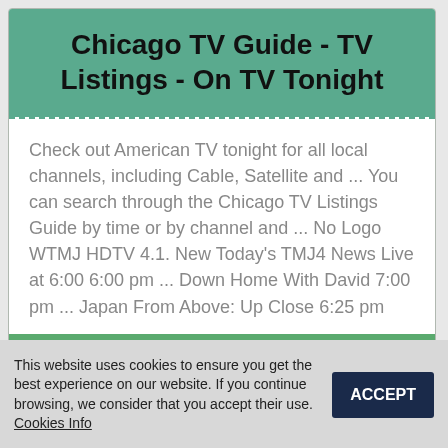Chicago TV Guide - TV Listings - On TV Tonight
Check out American TV tonight for all local channels, including Cable, Satellite and ... You can search through the Chicago TV Listings Guide by time or by channel and ... No Logo WTMJ HDTV 4.1. New Today's TMJ4 News Live at 6:00 6:00 pm ... Down Home With David 7:00 pm ... Japan From Above: Up Close 6:25 pm
CHECK
This website uses cookies to ensure you get the best experience on our website. If you continue browsing, we consider that you accept their use. Cookies Info
ACCEPT